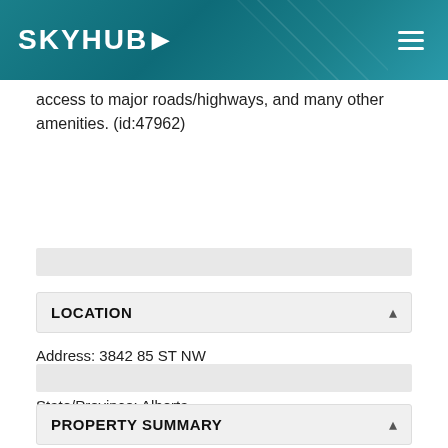SKYHUB
access to major roads/highways, and many other amenities. (id:47962)
LOCATION
Address: 3842 85 ST NW
City: Edmonton
State/Province: Alberta
Zip: T6K3H9
Country: Canada
PROPERTY SUMMARY